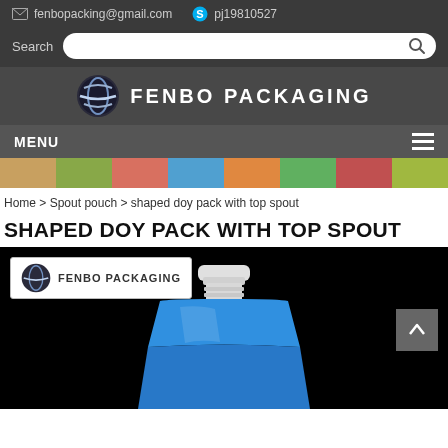fenbopacking@gmail.com  pj19810527
Search
[Figure (logo): Fenbo Packaging logo with swirl globe icon and brand name FENBO PACKAGING]
MENU
[Figure (photo): Product banner strip showing various colorful spout pouches]
Home > Spout pouch > shaped doy pack with top spout
SHAPED DOY PACK WITH TOP SPOUT
[Figure (photo): Product image on black background showing a blue shaped doy pack with top spout; Fenbo Packaging logo badge in top left; scroll-to-top button in top right]